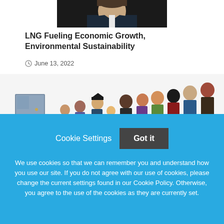[Figure (photo): Top portion of a person's photo (man in suit with red tie), cropped at the top of the page]
LNG Fueling Economic Growth, Environmental Sustainability
June 13, 2022
[Figure (illustration): Illustration of a diverse crowd of people standing in a queue/line leading to a door, colorful cartoon style]
Cookie Settings
Got it
We use cookies so that we can remember you and understand how you use our site. If you do not agree with our use of cookies, please change the current settings found in our Cookie Policy. Otherwise, you agree to the use of the cookies as they are currently set.